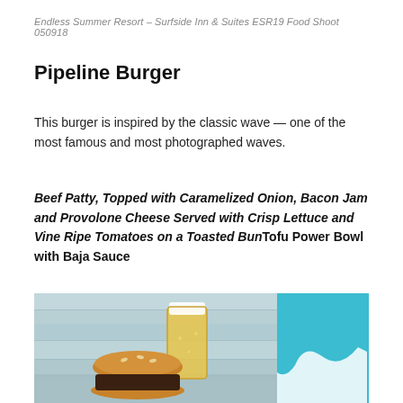Endless Summer Resort – Surfside Inn & Suites ESR19 Food Shoot 050918
Pipeline Burger
This burger is inspired by the classic wave — one of the most famous and most photographed waves.
Beef Patty, Topped with Caramelized Onion, Bacon Jam and Provolone Cheese Served with Crisp Lettuce and Vine Ripe Tomatoes on a Toasted BunTofu Power Bowl with Baja Sauce
[Figure (photo): Food photo showing a burger and a glass of beer on a rustic light blue wooden surface, with a teal/cyan decorative object in the background]